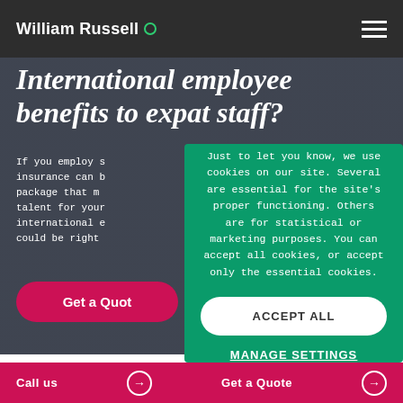William Russell
International employee benefits to expat staff?
If you employ s... insurance can b... package that m... talent for your ... international e... could be right ...
Just to let you know, we use cookies on our site. Several are essential for the site's proper functioning. Others are for statistical or marketing purposes. You can accept all cookies, or accept only the essential cookies.
ACCEPT ALL
MANAGE SETTINGS
Get a Quote
Call us   →   Get a Quote   →